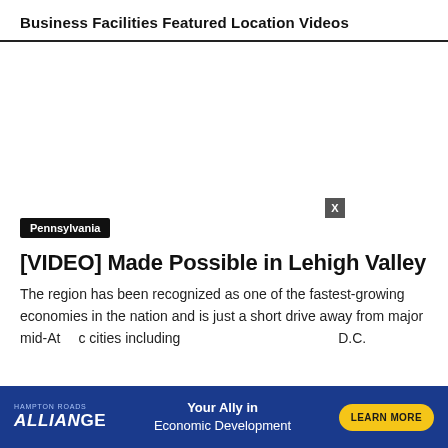Business Facilities Featured Location Videos
[Figure (other): Blank white video embed area for a featured location video]
Pennsylvania
[VIDEO] Made Possible in Lehigh Valley
The region has been recognized as one of the fastest-growing economies in the nation and is just a short drive away from major mid-Atlantic cities including D.C.
[Figure (infographic): Blue advertisement banner for Alliance Economic Development with 'Your Ally in Economic Development' tagline and 'Learn More' button. Has an X close button overlay.]